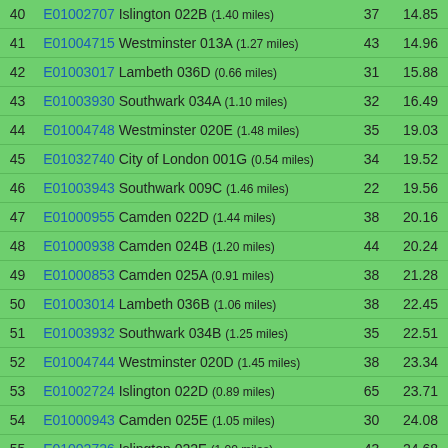| # | Area Code | Count | Value |
| --- | --- | --- | --- |
| 40 | E01002707 Islington 022B (1.40 miles) | 37 | 14.85 |
| 41 | E01004715 Westminster 013A (1.27 miles) | 43 | 14.96 |
| 42 | E01003017 Lambeth 036D (0.66 miles) | 31 | 15.88 |
| 43 | E01003930 Southwark 034A (1.10 miles) | 32 | 16.49 |
| 44 | E01004748 Westminster 020E (1.48 miles) | 35 | 19.03 |
| 45 | E01032740 City of London 001G (0.54 miles) | 34 | 19.52 |
| 46 | E01003943 Southwark 009C (1.46 miles) | 22 | 19.56 |
| 47 | E01000955 Camden 022D (1.44 miles) | 38 | 20.16 |
| 48 | E01000938 Camden 024B (1.20 miles) | 44 | 20.24 |
| 49 | E01000853 Camden 025A (0.91 miles) | 38 | 21.28 |
| 50 | E01003014 Lambeth 036B (1.06 miles) | 38 | 22.45 |
| 51 | E01003932 Southwark 034B (1.25 miles) | 35 | 22.51 |
| 52 | E01004744 Westminster 020D (1.45 miles) | 38 | 23.34 |
| 53 | E01002724 Islington 022D (0.89 miles) | 65 | 23.71 |
| 54 | E01000943 Camden 025E (1.05 miles) | 30 | 24.08 |
| 55 | E01002726 Islington 022F (1.00 miles) | 43 | 24.68 |